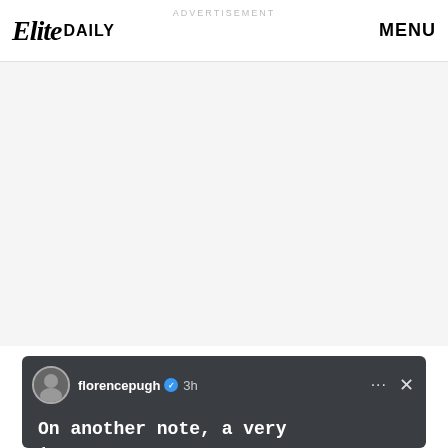Elite Daily | MENU
ADVERTISEMENT
[Figure (screenshot): Gray advertisement placeholder area]
[Figure (screenshot): Instagram story screenshot showing 'florencepugh' username with verified badge, posted 3h ago, with text: 'On another note, a very important note.']